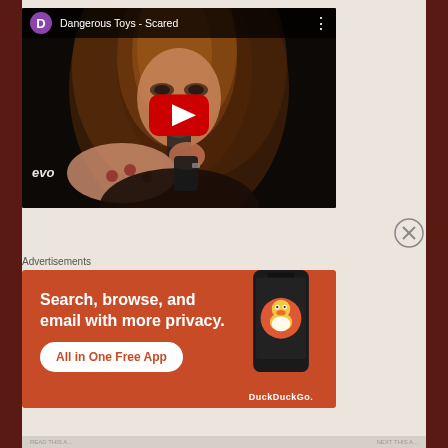[Figure (screenshot): YouTube embedded video player showing 'Dangerous Toys - Scared' with a singer performing live, long hair, holding microphone. YouTube play button overlay visible. 'evo' watermark in bottom left of video. Purple avatar with letter D and video title in top bar.]
Advertisements
[Figure (screenshot): DuckDuckGo advertisement banner with orange/red background. Text: 'Search, browse, and email with more privacy. All in One Free App'. Shows a smartphone with DuckDuckGo app and DuckDuckGo logo/text.]